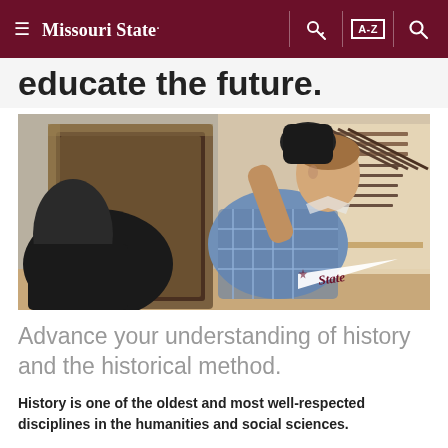≡ Missouri State. [key icon] [A-Z] [search icon]
educate the future.
[Figure (photo): A young man wearing a blue plaid shirt and black latex gloves examining or handling a large ornate framed artwork or mirror in what appears to be a museum storage or display room. Rifles are visible on a rack in the background. A Missouri State pennant is overlaid in the lower right corner.]
Advance your understanding of history and the historical method.
History is one of the oldest and most well-respected disciplines in the humanities and social sciences.